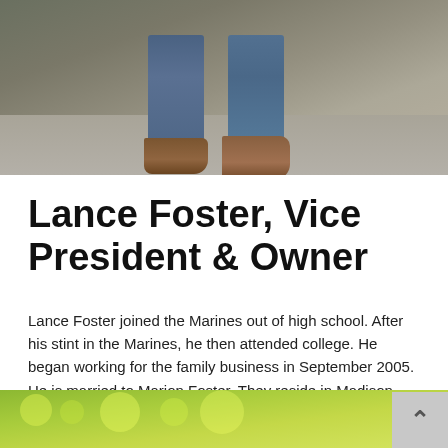[Figure (photo): Photo of person's lower body showing jeans and brown work boots on a concrete surface]
Lance Foster, Vice President & Owner
Lance Foster joined the Marines out of high school. After his stint in the Marines, he then attended college. He began working for the family business in September 2005. He is married to Marion Foster. They reside in Madison, MS, and he loves hunting, fishing, baseball, and spending time with his wife.
[Figure (photo): Bottom partial photo showing green bokeh/foliage background with a back-to-top button in the lower right corner]